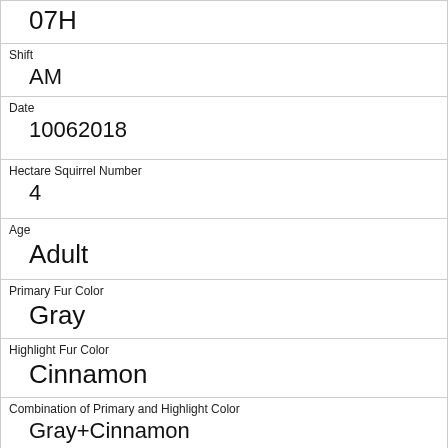| 07H |
| Shift | AM |
| Date | 10062018 |
| Hectare Squirrel Number | 4 |
| Age | Adult |
| Primary Fur Color | Gray |
| Highlight Fur Color | Cinnamon |
| Combination of Primary and Highlight Color | Gray+Cinnamon |
| Color notes |  |
| Location | Ground Plane |
| Above Ground Sighter Measurement |  |